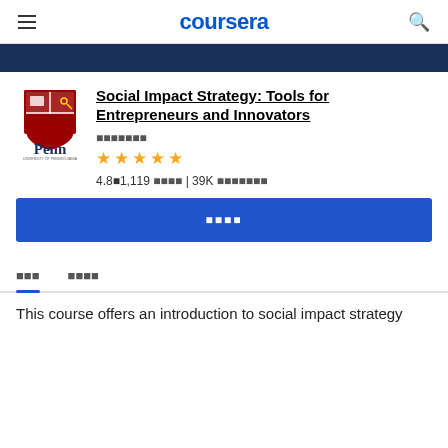coursera
[Figure (illustration): Dark navy banner image at top of course page]
[Figure (logo): University of Pennsylvania Penn logo with shield crest]
Social Impact Strategy: Tools for Entrepreneurs and Innovators
★★★★★ 4.8 | 1,119 ratings | 39K students
Enroll
About | Outcomes
This course offers an introduction to social impact strategy